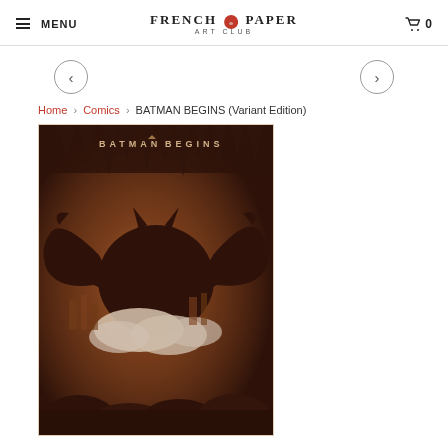MENU | FRENCH PAPER ART CLUB | 0
Home › Comics › BATMAN BEGINS (Variant Edition)
[Figure (illustration): Batman Begins variant edition movie poster art showing a large Batman silhouette with wings spread against a warm amber/sepia glowing background with a cityscape, stalactites above, and rocky ground below. Text 'BATMAN BEGINS' at top.]